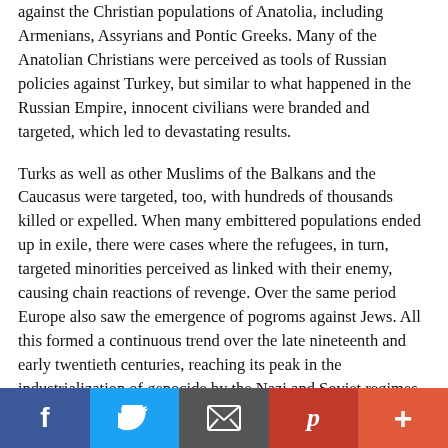against the Christian populations of Anatolia, including Armenians, Assyrians and Pontic Greeks. Many of the Anatolian Christians were perceived as tools of Russian policies against Turkey, but similar to what happened in the Russian Empire, innocent civilians were branded and targeted, which led to devastating results.
Turks as well as other Muslims of the Balkans and the Caucasus were targeted, too, with hundreds of thousands killed or expelled. When many embittered populations ended up in exile, there were cases where the refugees, in turn, targeted minorities perceived as linked with their enemy, causing chain reactions of revenge. Over the same period Europe also saw the emergence of pogroms against Jews. All this formed a continuous trend over the late nineteenth and early twentieth centuries, reaching its peak in the industrialization of genocide by the Nazi and Soviet regimes.
Several factions on many sides committed crimes against other populations over this period. Entire nationalities, in areas where Christians and Muslims had previously coexisted for centuries, suddenly became victim to imperial rivalries. It was certainly not necessary to have hundreds of thousands, if not millions of people murdered and expelled for the sake of the general political and military circumstances that have often been used to justify
[Figure (infographic): Social sharing bar with Facebook (blue), Twitter (light blue), Email (dark gray), Pinterest (red), and Add (+) (orange-red) buttons]